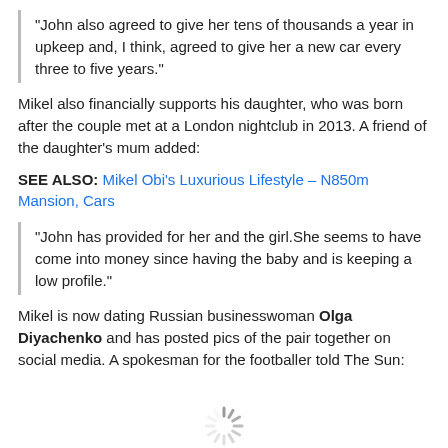“John also agreed to give her tens of thousands a year in upkeep and, I think, agreed to give her a new car every three to five years.”
Mikel also financially supports his daughter, who was born after the couple met at a London nightclub in 2013. A friend of the daughter’s mum added:
SEE ALSO: Mikel Obi’s Luxurious Lifestyle – N850m Mansion, Cars
“John has provided for her and the girl.She seems to have come into money since having the baby and is keeping a low profile.”
Mikel is now dating Russian businesswoman Olga Diyachenko and has posted pics of the pair together on social media. A spokesman for the footballer told The Sun:
[Figure (other): Loading spinner animation icon]
“This is an entirely private matter John provides for and cares for